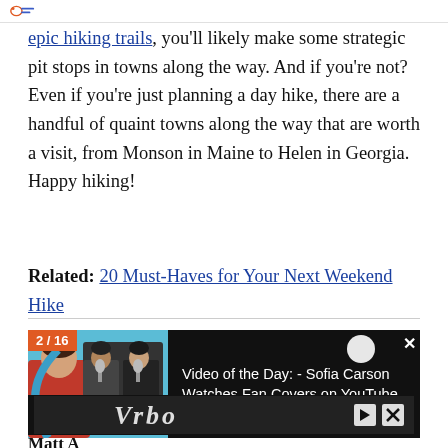epic hiking trails, you'll likely make some strategic pit stops in towns along the way. And if you're not? Even if you're just planning a day hike, there are a handful of quaint towns along the way that are worth a visit, from Monson in Maine to Helen in Georgia. Happy hiking!
Related: 20 Must-Haves for Your Next Weekend Hike
[Figure (screenshot): Video player thumbnail showing '2 / 16' counter in orange, a video thumbnail with two people recording at microphones on a blue background, and text reading 'Video of the Day: - Sofia Carson Watches Fan Covers on YouTube' on black background. A close button X is in the top right.]
[Figure (screenshot): Advertisement bar with Vrbo logo text in stylized italic white font on dark background, with ad control icons on the right.]
Matt A